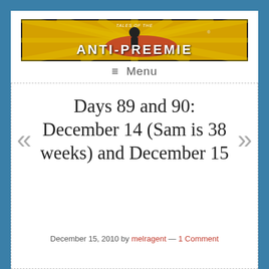[Figure (logo): Tales of the Anti-Preemie blog banner with dark background, superhero figure, and stylized text on yellow/red rays]
≡ Menu
Days 89 and 90: December 14 (Sam is 38 weeks) and December 15
December 15, 2010 by melragent — 1 Comment